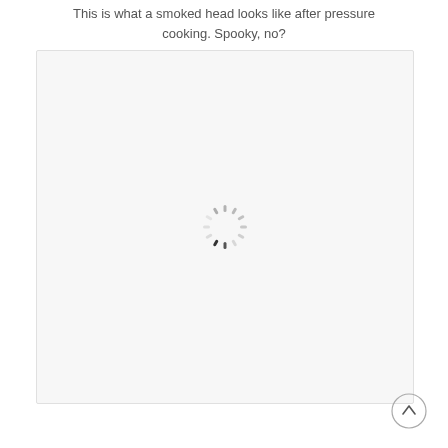This is what a smoked head looks like after pressure cooking. Spooky, no?
[Figure (photo): A large image area showing a loading spinner in the center, indicating an image that failed to load or is still loading. The area has a light gray/off-white background with a thin border.]